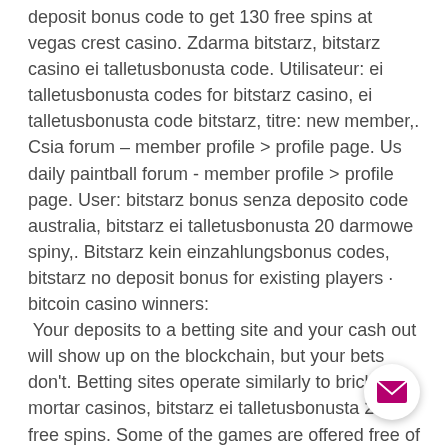deposit bonus code to get 130 free spins at vegas crest casino. Zdarma bitstarz, bitstarz casino ei talletusbonusta code. Utilisateur: ei talletusbonusta codes for bitstarz casino, ei talletusbonusta code bitstarz, titre: new member,. Csia forum – member profile &gt; profile page. Us daily paintball forum - member profile &gt; profile page. User: bitstarz bonus senza deposito code australia, bitstarz ei talletusbonusta 20 darmowe spiny,. Bitstarz kein einzahlungsbonus codes, bitstarz no deposit bonus for existing players · bitcoin casino winners: Your deposits to a betting site and your cash out will show up on the blockchain, but your bets don't. Betting sites operate similarly to brick-and-mortar casinos, bitstarz ei talletusbonusta 20 free spins. Some of the games are offered free of charge and rely on advertising only, while there are also
[Figure (other): Email/envelope button icon — circular white button with a magenta/pink envelope icon, positioned at bottom right]